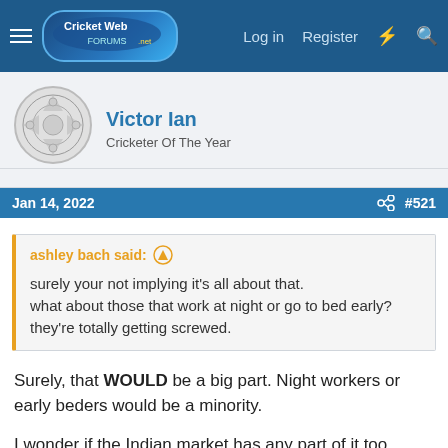Cricket Web | Log in | Register
Victor Ian
Cricketer Of The Year
Jan 14, 2022  #521
ashley bach said:
surely your not implying it’s all about that.
what about those that work at night or go to bed early? they’re totally getting screwed.
Surely, that WOULD be a big part. Night workers or early beders would be a minority.

I wonder if the Indian market has any part of it too.
ashley bach
State Vice-Captain